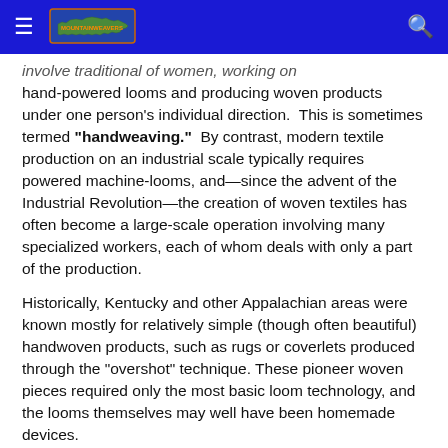Navigation header with hamburger menu, Kentucky logo, and search icon
involve traditional of women, working on hand-powered looms and producing woven products under one person's individual direction.  This is sometimes termed "handweaving."  By contrast, modern textile production on an industrial scale typically requires powered machine-looms, and—since the advent of the Industrial Revolution—the creation of woven textiles has often become a large-scale operation involving many specialized workers, each of whom deals with only a part of the production.

Historically, Kentucky and other Appalachian areas were known mostly for relatively simple (though often beautiful) handwoven products, such as rugs or coverlets produced through the "overshot" technique.  These pioneer woven pieces required only the most basic loom technology, and the looms themselves may well have been homemade devices.